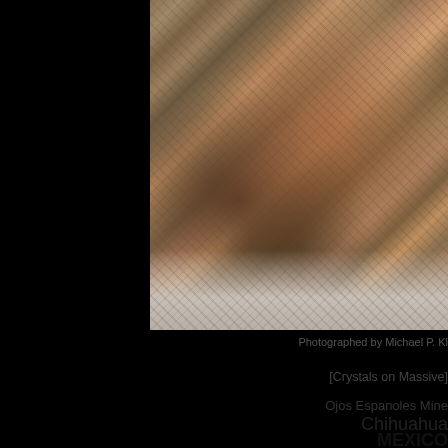[Figure (photo): Close-up photograph of a mineral specimen showing crystals on massive matrix. The rock appears brownish-tan with reddish-brown crystal clusters on the surface, photographed against a light gray background.]
Photographed by Michael P. Kl
[Crystals on Massive]
Ojos Espanoles Mine
Chihuahua
MEXICO